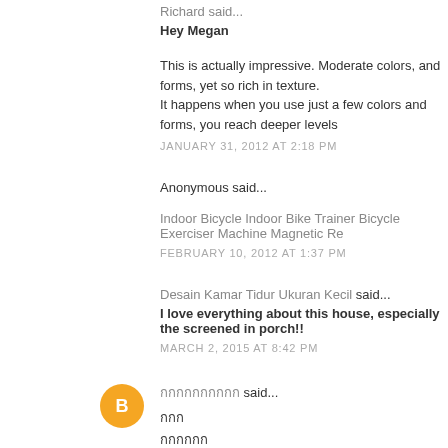Richard said...
Hey Megan
This is actually impressive. Moderate colors, and forms, yet so rich in texture. It happens when you use just a few colors and forms, you reach deeper levels
JANUARY 31, 2012 AT 2:18 PM
Anonymous said...
Indoor Bicycle Indoor Bike Trainer Bicycle Exerciser Machine Magnetic Re...
FEBRUARY 10, 2012 AT 1:37 PM
Desain Kamar Tidur Ukuran Kecil said...
I love everything about this house, especially the screened in porch!!
MARCH 2, 2015 AT 8:42 PM
กกกกกกกกกก said...
กกก
กกกกกก
กกกกกกกก
กกกกกก